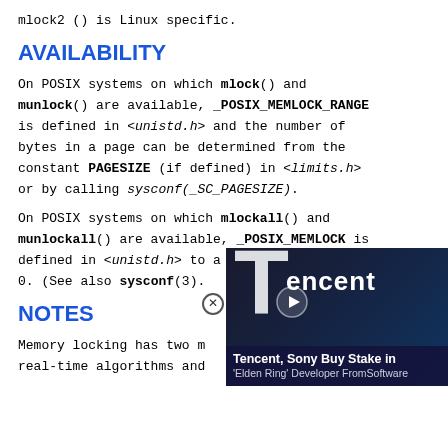mlock2 () is Linux specific.
AVAILABILITY
On POSIX systems on which mlock() and munlock() are available, _POSIX_MEMLOCK_RANGE is defined in <unistd.h> and the number of bytes in a page can be determined from the constant PAGESIZE (if defined) in <limits.h> or by calling sysconf(_SC_PAGESIZE).
On POSIX systems on which mlockall() and munlockall() are available, _POSIX_MEMLOCK is defined in <unistd.h> to a value greater than 0. (See also sysconf(3).
NOTES
Memory locking has two m real-time algorithms and
[Figure (other): Advertisement overlay showing Tencent logo with text 'Tencent, Sony Buy Stake in Elden Ring Developer FromSoftware']